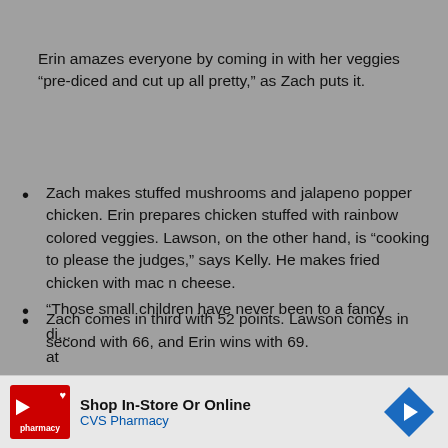Erin amazes everyone by coming in with her veggies “pre-diced and cut up all pretty,” as Zach puts it.
Zach makes stuffed mushrooms and jalapeno popper chicken. Erin prepares chicken stuffed with rainbow colored veggies. Lawson, on the other hand, is “cooking to please the judges,” says Kelly. He makes fried chicken with mac n cheese.
Zach comes in third with 52 points. Lawson comes in second with 66, and Erin wins with 69.
“Those small children have never been to a fancy di... at...
[Figure (other): CVS Pharmacy advertisement banner: Shop In-Store Or Online, CVS Pharmacy]